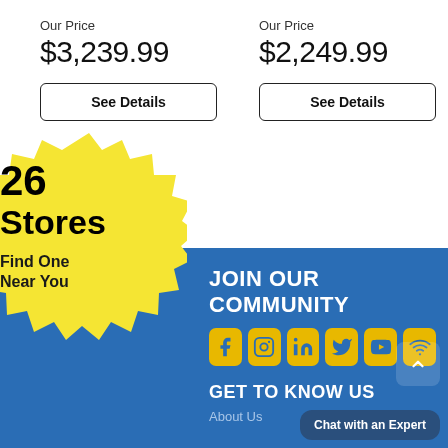Our Price
$3,239.99
See Details
Our Price
$2,249.99
See Details
[Figure (infographic): Yellow starburst badge with '26 Stores Find One Near You' text, overlapping a blue footer banner]
JOIN OUR COMMUNITY
[Figure (infographic): Row of social media icons: Facebook, Instagram, LinkedIn, Twitter, YouTube, and another platform, all in yellow rounded square buttons]
GET TO KNOW US
About Us
Chat with an Expert